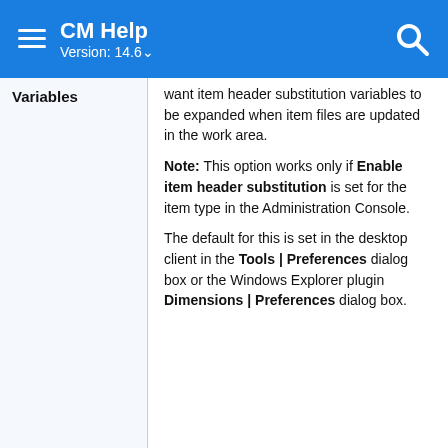CM Help Version: 14.6
| Variables | Description |
| --- | --- |
| Variables | want item header substitution variables to be expanded when item files are updated in the work area.

Note: This option works only if Enable item header substitution is set for the item type in the Administration Console.

The default for this is set in the desktop client in the Tools | Preferences dialog box or the Windows Explorer plugin Dimensions | Preferences dialog box. |